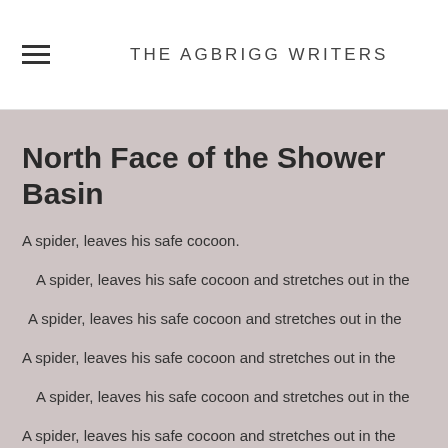THE AGBRIGG WRITERS
North Face of the Shower Basin
A spider, leaves his safe cocoon.
A spider, leaves his safe cocoon and stretches out in the
A spider, leaves his safe cocoon and stretches out in the
A spider, leaves his safe cocoon and stretches out in the
A spider, leaves his safe cocoon and stretches out in the
A spider, leaves his safe cocoon and stretches out in the
A spider, leaves his safe cocoon and stretches out in the